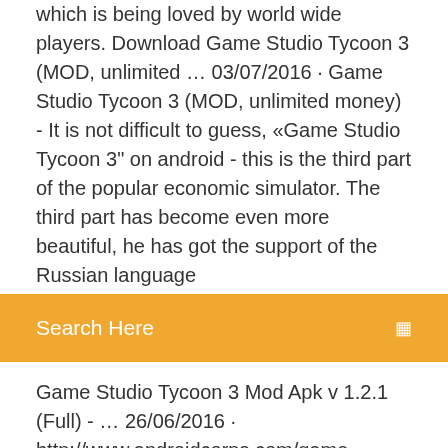which is being loved by world wide players. Download Game Studio Tycoon 3 (MOD, unlimited … 03/07/2016 · Game Studio Tycoon 3 (MOD, unlimited money) - It is not difficult to guess, «Game Studio Tycoon 3" on android - this is the third part of the popular economic simulator. The third part has become even more beautiful, he has got the support of the Russian language
Search Here
Game Studio Tycoon 3 Mod Apk v 1.2.1 (Full) - … 26/06/2016 · http://www.androidcorps.com/game-studio-tycoon-3-mod-apk-v-1-2-1-full/ Game Dev Tycoon 1.4.9 (Full Paid) Apk for Android A game with Game Dev Tycoon does not contain any in-app purchases or ads and you can play it without an internet connection. Enjoy! What the press has to say "It's the perfect sort of game for mobile devices and there's so much to do here [...]" – ⭐⭐⭐⭐⭐ Toucharcade "If you've never played it, now is the time." – ⭐⭐⭐⭐½ PocketGamer "Game Dev Tycoon is a Rope Hero